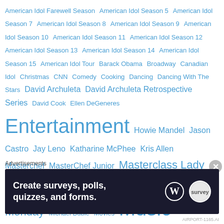American Idol Farewell Season  American Idol Season 5  American Idol Season 7  American Idol Season 8  American Idol Season 9  American Idol Season 10  American Idol Season 11  American Idol Season 12  American Idol Season 13  American Idol Season 14  American Idol Season 15  American Idol Tour  Barack Obama  Broadway  Canadian Idol  Christmas  CNN  Comedy  Cooking  Dancing  Dancing With The Stars  David Archuleta  David Archuleta Retrospective Series  David Cook  Ellen DeGeneres  Entertainment  Howie Mandel  Jason Castro  Jay Leno  Katharine McPhee  Kris Allen  Masterchef  MasterChef Junior  Masterclass Lady  Masterclass Lady's Media Blitz  Masterclass Monday  Michael Buble  Movies  Music  Performance Masterclass Discussion  Politics  R.I.P.  Recordings  Rosanne Simunovic  Ryan Seacrest  Singing  Television  The Voice  The X Factor
Advertisements
[Figure (other): Advertisement banner: Create surveys, polls, quizzes, and forms. WordPress logo and survey tool logo shown on dark background.]